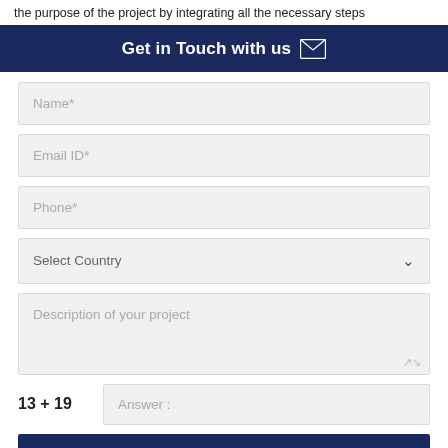the purpose of the project by integrating all the necessary steps
Get in Touch with us
Name*
Email ID*
Phone*
Select Country
Description of your project
13 + 19
Answer :
SUBMIT